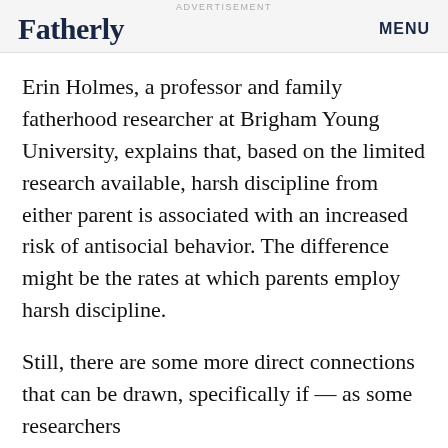ADVERTISEMENT | Fatherly | MENU
Erin Holmes, a professor and family fatherhood researcher at Brigham Young University, explains that, based on the limited research available, harsh discipline from either parent is associated with an increased risk of antisocial behavior. The difference might be the rates at which parents employ harsh discipline.
Still, there are some more direct connections that can be drawn, specifically if — as some researchers